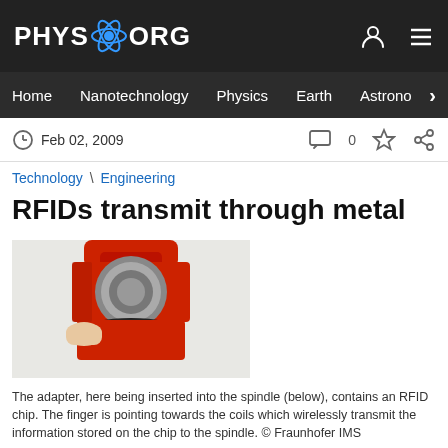PHYS.ORG
Home  Nanotechnology  Physics  Earth  Astronomy
Feb 02, 2009
Technology \ Engineering
RFIDs transmit through metal
[Figure (photo): An adapter being inserted into a spindle, with a finger pointing towards the coils which wirelessly transmit the information stored on the chip to the spindle. Red industrial equipment with metal components.]
The adapter, here being inserted into the spindle (below), contains an RFID chip. The finger is pointing towards the coils which wirelessly transmit the information stored on the chip to the spindle. © Fraunhofer IMS